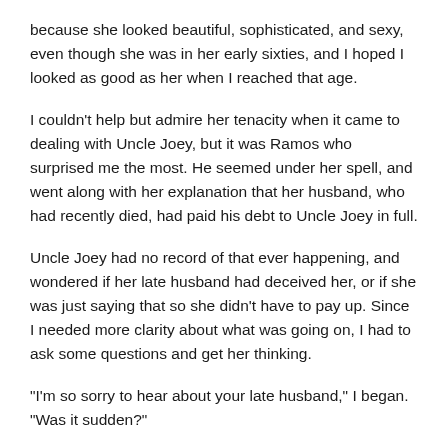because she looked beautiful, sophisticated, and sexy, even though she was in her early sixties, and I hoped I looked as good as her when I reached that age.
I couldn't help but admire her tenacity when it came to dealing with Uncle Joey, but it was Ramos who surprised me the most. He seemed under her spell, and went along with her explanation that her husband, who had recently died, had paid his debt to Uncle Joey in full.
Uncle Joey had no record of that ever happening, and wondered if her late husband had deceived her, or if she was just saying that so she didn't have to pay up. Since I needed more clarity about what was going on, I had to ask some questions and get her thinking.
“I’m so sorry to hear about your late husband,” I began. “Was it sudden?”
Her eyes widened. “Why yes, it was. He had a heart attack and died before the paramedics arrived.” She wasn’t exactly lying, since his heart had given out, but it wasn’t because of a heart attack. It was because she’d pumped him full of adrenalin, and, because of his heart condition, it was fatal.